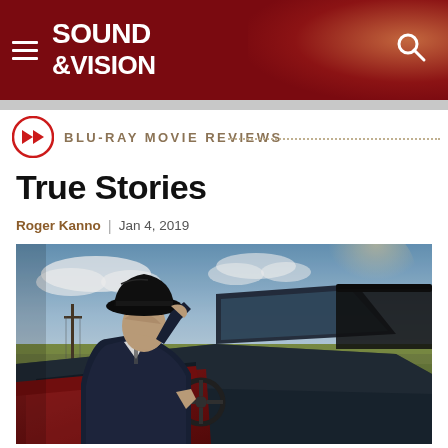SOUND & VISION
BLU-RAY MOVIE REVIEWS
True Stories
Roger Kanno | Jan 4, 2019
[Figure (photo): A man in a dark suit and wide-brimmed black hat sits in the driver seat of a red convertible car, viewed from the passenger side, looking forward, with a flat open landscape and blue sky with clouds in the background.]